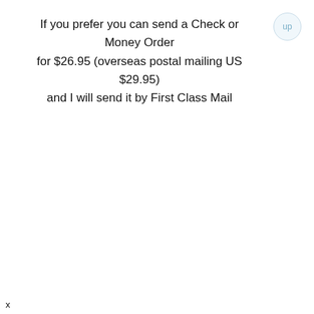If you prefer you can send a Check or Money Order for $26.95 (overseas postal mailing US $29.95) and I will send it by First Class Mail
[Figure (other): Small circular button with light blue border and text 'up']
x